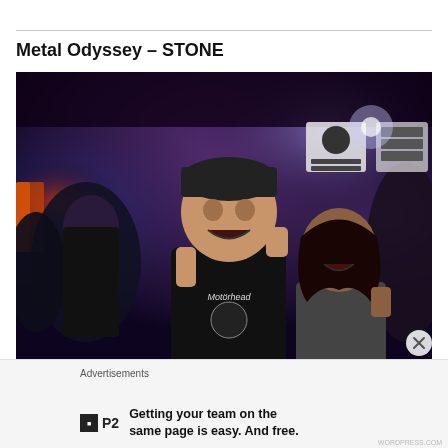Metal Odyssey – STONE
[Figure (photo): Photo of people at a metal concert/bar. Center: large man in black Motörhead shirt and cap making rock hand gesture with mouth open. Right: young woman with dark hair also making rock gesture and smiling. Background shows bar setting with purple/blue lighting, crowd of people, and signs on the wall.]
Advertisements
Getting your team on the same page is easy. And free.